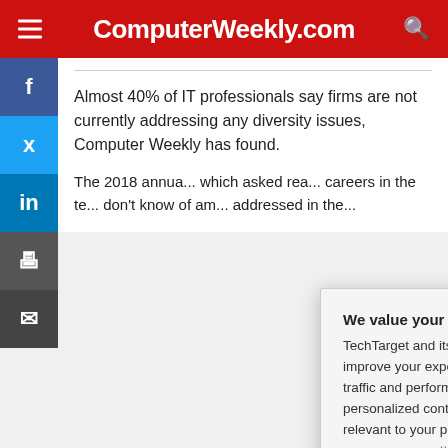ComputerWeekly.com
Almost 40% of IT professionals say firms are not currently addressing any diversity issues, Computer Weekly has found.
The 2018 annua... which asked rea... careers in the te... don't know of am... addressed in the...
We value your privacy. TechTarget and its partners employ cookies to improve your experience on our site, to analyze traffic and performance, and to serve personalized content and advertising that are relevant to your professional interests. You can manage your settings at any time. Please view our Privacy Policy for more information